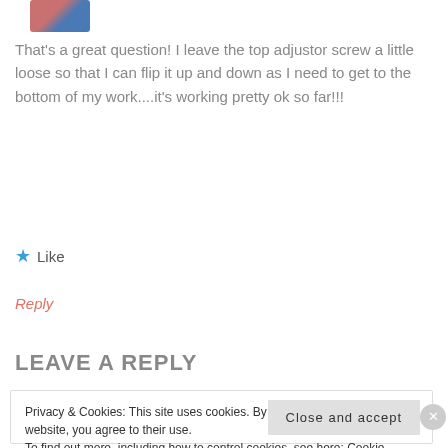[Figure (photo): Small profile photo of a person with pink and blue tones]
That's a great question! I leave the top adjustor screw a little loose so that I can flip it up and down as I need to get to the bottom of my work....it's working pretty ok so far!!!
★ Like
Reply
LEAVE A REPLY
Privacy & Cookies: This site uses cookies. By continuing to use this website, you agree to their use.
To find out more, including how to control cookies, see here: Cookie Policy
Close and accept